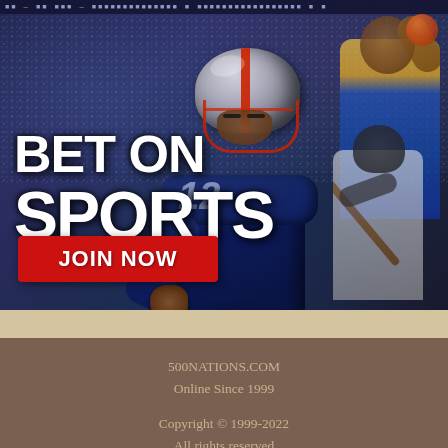[Figure (photo): Sports betting advertisement banner featuring a football player in a New England Patriots jersey (#12) in the foreground wearing a helmet, a basketball player (Golden State Warriors uniform) in the upper right, and a baseball batter in the lower right. Stadium crowd visible in background. Text overlays: 'BET ON' and 'SPORTS' in large white bold letters on the left. A red 'JOIN NOW' button is in the lower left.]
500NATIONS.COM
Online Since 1999
Copyright © 1999-2022
All rights reserved